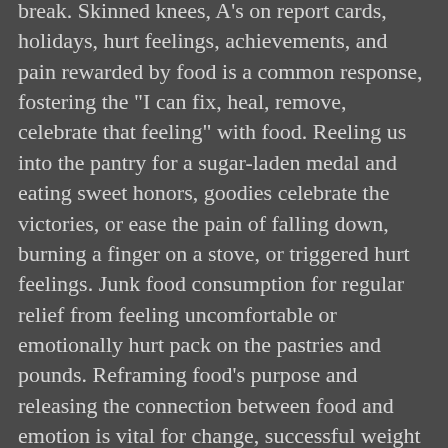break. Skinned knees, A's on report cards, holidays, hurt feelings, achievements, and pain rewarded by food is a common response, fostering the "I can fix, heal, remove, celebrate that feeling" with food. Reeling us into the pantry for a sugar-laden medal and eating sweet honors, goodies celebrate the victories, or ease the pain of falling down, burning a finger on a stove, or triggered hurt feelings. Junk food consumption for regular relief from feeling uncomfortable or emotionally hurt pack on the pastries and pounds. Reframing food's purpose and releasing the connection between food and emotion is vital for change, successful weight loss and maintenance.
Food as fuel negates food reward needs, and fosters respect for healthy choices and the body. If food's sole purpose is energy, emotional responses must reroute elsewhere. Gathering alternatives for discomfort, emotional releases, and successes is imperative to reframe food's function. Not an easy transition, but the repetition creates a habit that